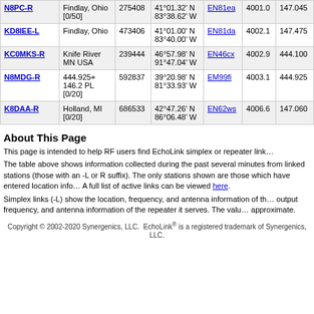| Callsign | Location | ID | Coordinates | Grid | Dist | Freq |
| --- | --- | --- | --- | --- | --- | --- |
| N8PC-R | Findlay, Ohio [0/50] | 275408 | 41°01.32' N 83°38.62' W | EN81ea | 4001.0 | 147.045 |
| KD8IEE-L | Findlay, Ohio | 473406 | 41°01.00' N 83°40.00' W | EN81da | 4002.1 | 147.475 |
| KC0MKS-R | Knife River MN USA | 239444 | 46°57.98' N 91°47.04' W | EN46cx | 4002.9 | 444.100 |
| N8MDG-R | 444.925+ 146.2 PL [0/20] | 592837 | 39°20.98' N 81°33.93' W | EM99fi | 4003.1 | 444.925 |
| K8DAA-R | Holland, MI [0/20] | 686533 | 42°47.26' N 86°06.48' W | EN62ws | 4006.6 | 147.060 |
About This Page
This page is intended to help RF users find EchoLink simplex or repeater links near them.
The table above shows information collected during the past several minutes from linked stations (those with an -L or -R suffix). The only stations shown are those which have entered location information in their configuration. A full list of active links can be viewed here.
Simplex links (-L) show the location, frequency, and antenna information of the link itself. Repeater links (-R) show the output frequency, and antenna information of the repeater it serves. The values shown in the distance column are approximate.
Copyright © 2002-2020 Synergenics, LLC. EchoLink® is a registered trademark of Synergenics, LLC.